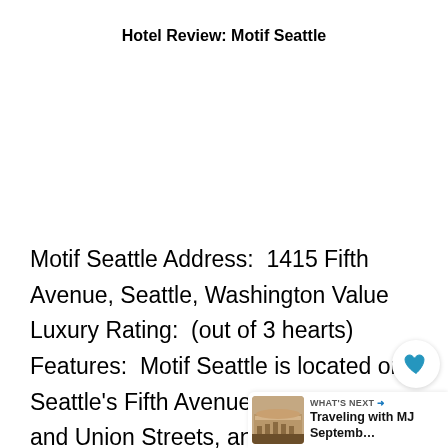HOTEL REVIEW: MOTIF SEATTLE
Motif Seattle Address:  1415 Fifth Avenue, Seattle, Washington Value Luxury Rating:  (out of 3 hearts) Features:  Motif Seattle is located on Seattle's Fifth Avenue, between Pike and Union Streets, and has themed the hotel around locally-inspired fashion in its 319 guestrooms. Rooms offer views of downtown Seattle, Elliott Bay, and the Olympic